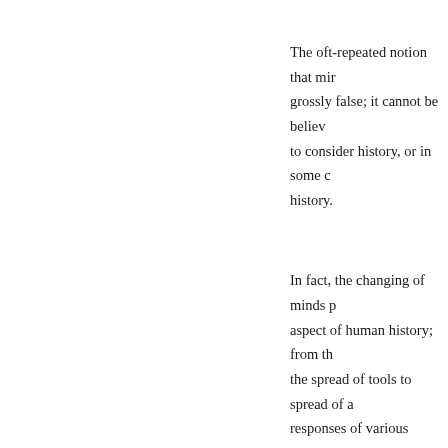The oft-repeated notion that minds are grossly false; it cannot be believed to consider history, or in some c history.
In fact, the changing of minds p aspect of human history; from th the spread of tools to spread of a responses of various cultures to politics, and religion.
If humans have any attribute in different from the other animals our far superior ability to learn n ideas, devise new tools, conside